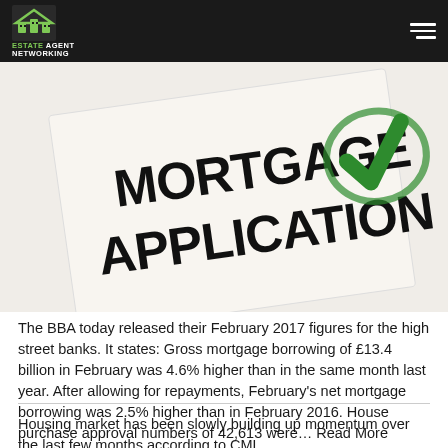ESTATE AGENT NETWORKING
[Figure (photo): Mortgage application form with a green checkmark stamp]
The BBA today released their February 2017 figures for the high street banks. It states: Gross mortgage borrowing of £13.4 billion in February was 4.6% higher than in the same month last year. After allowing for repayments, February's net mortgage borrowing was 2.5% higher than in February 2016. House purchase approval numbers of 42,613 were... Read More
Housing market has been slowly building up momentum over the last few months according to CML